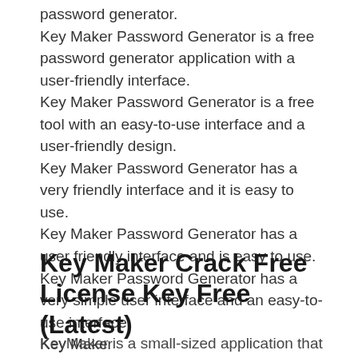password generator.
Key Maker Password Generator is a free password generator application with a user-friendly interface.
Key Maker Password Generator is a free tool with an easy-to-use interface and a user-friendly design.
Key Maker Password Generator has a very friendly interface and it is easy to use.
Key Maker Password Generator has a user friendly interface and is easy to use.
Key Maker Password Generator has a very simple user interface and an easy-to-use interface.
Key Maker
Key Maker Crack Free License Key Free (Latest)
KeyMaker is a small-sized application that features intuitive